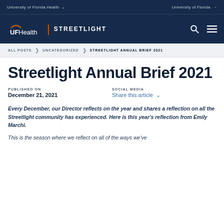University of Florida Health | University of Florida
UF Health | STREETLIGHT
ALL POSTS > UNCATEGORIZED > STREETLIGHT ANNUAL BRIEF 2021
Streetlight Annual Brief 2021
PUBLISHED ON
December 21, 2021
SOCIAL MEDIA
Share this article
Every December, our Director reflects on the year and shares a reflection on all the Streetlight community has experienced. Here is this year's reflection from Emily Marchi.
This is the season where we reflect on all of the ways we've